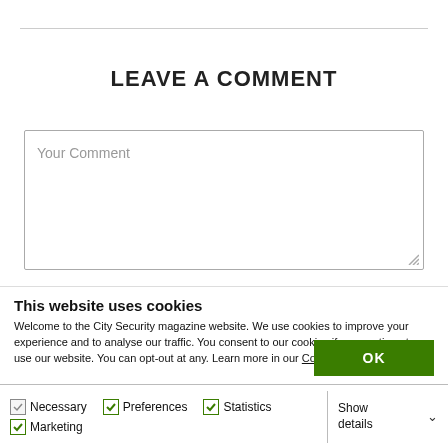LEAVE A COMMENT
[Figure (screenshot): A text area input box with placeholder text 'Your Comment' and a resize handle in the bottom-right corner]
This website uses cookies
Welcome to the City Security magazine website. We use cookies to improve your experience and to analyse our traffic. You consent to our cookies if you continue to use our website. You can opt-out at any. Learn more in our Cookie Policy.
OK
Necessary  Preferences  Statistics  Marketing  Show details